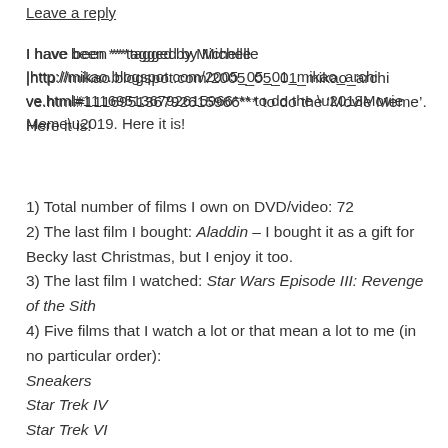Leave a reply
I have been ***tagged by Michelle |http://mikao.blogspot.com/2005_05_01_mikao_archive.html#111695136792615966*** to do the ‘Movie Meme’. Here it is!
1) Total number of films I own on DVD/video: 72
2) The last film I bought: Aladdin – I bought it as a gift for Becky last Christmas, but I enjoy it too.
3) The last film I watched: Star Wars Episode III: Revenge of the Sith
4) Five films that I watch a lot or that mean a lot to me (in no particular order):
Sneakers
Star Trek IV
Star Trek VI
Spy Game
Russian Ark